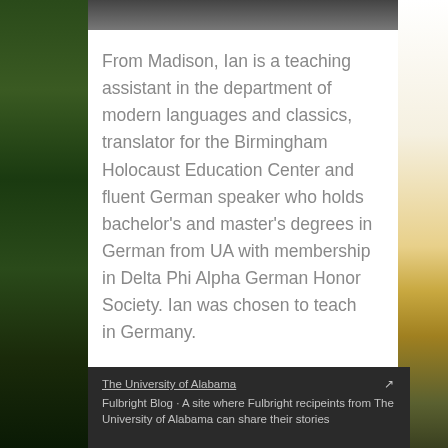[Figure (photo): Top portion of a person's photo, cropped at the bottom]
From Madison, Ian is a teaching assistant in the department of modern languages and classics, translator for the Birmingham Holocaust Education Center and fluent German speaker who holds bachelor's and master's degrees in German from UA with membership in Delta Phi Alpha German Honor Society. Ian was chosen to teach in Germany.
The University of Alabama Fulbright Blog · A site where Fulbright recipeints from The University of Alabama can share their stories